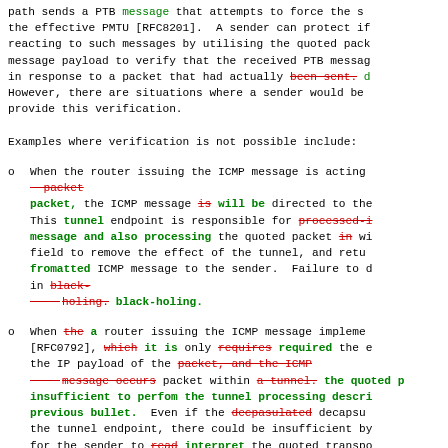path sends a PTB message that attempts to force the s the effective PMTU [RFC8201]. A sender can protect if reacting to such messages by utilising the quoted pack message payload to verify that the received PTB messag in response to a packet that had actually been sent. However, there are situations where a sender would be provide this verification.
Examples where verification is not possible include:
When the router issuing the ICMP message is acting packet packet, the ICMP message is will be directed to the This tunnel endpoint is responsible for processed message and also processing the quoted packet in wi field to remove the effect of the tunnel, and retu fromatted ICMP message to the sender. Failure to in black- holing. black-holing.
When the a router issuing the ICMP message impleme [RFC0792], which it is only requires required the e the IP payload of the packet, and the ICMP message occurs packet within a tunnel. the quoted p insufficient to perfom the tunnel processing descri previous bullet. Even if the decpasulated decapsu the tunnel endpoint, there could be insufficient by for the sender to read interpret the quoted transpo RFC1812 [RFC1812] requires routers to return the fu possible, often the case for IPv4 when used the pat tunnels; or where the packet has been encapsulate